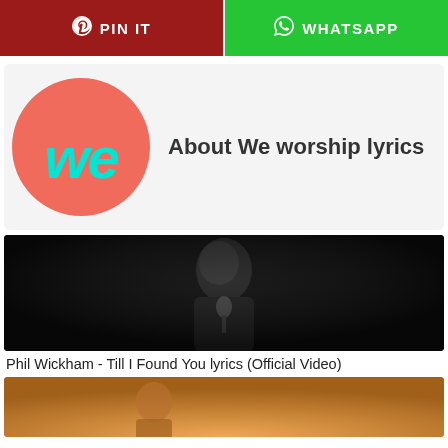[Figure (other): Two social sharing buttons: PIN IT (dark red, Pinterest icon) and WHATSAPP (green, WhatsApp icon)]
[Figure (logo): We worship lyrics logo: coral/salmon circle with cyan 'we' script lettering, next to text 'About We worship lyrics']
About We worship lyrics
[Figure (photo): Phil Wickham singing into a microphone against a dark background]
Phil Wickham - Till I Found You lyrics (Official Video)
[Figure (photo): A person in warm golden light, partially visible at the bottom of the page]